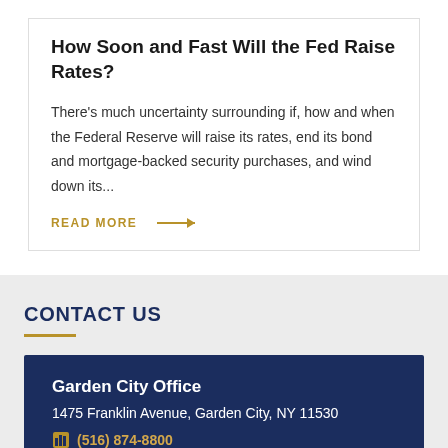How Soon and Fast Will the Fed Raise Rates?
There's much uncertainty surrounding if, how and when the Federal Reserve will raise its rates, end its bond and mortgage-backed security purchases, and wind down its...
READ MORE →
CONTACT US
Garden City Office
1475 Franklin Avenue, Garden City, NY 11530
(516) 874-8800